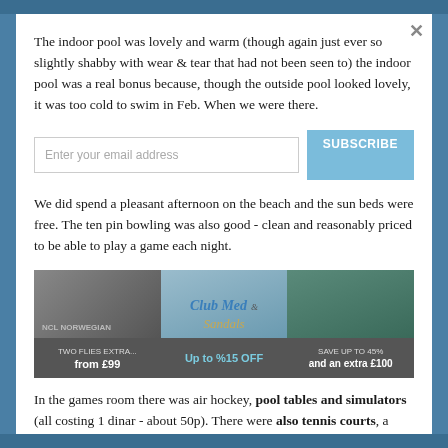The indoor pool was lovely and warm (though again just ever so slightly shabby with wear & tear that had not been seen to) the indoor pool was a real bonus because, though the outside pool looked lovely, it was too cold to swim in Feb. When we were there.
We did spend a pleasant afternoon on the beach and the sun beds were free. The ten pin bowling was also good - clean and reasonably priced to be able to play a game each night.
[Figure (screenshot): Advertisement banner with three sections: Norwegian Cruise Line (from £99), Club Med (Up to %15 OFF), and Sandals (and an extra £100)]
In the games room there was air hockey, pool tables and simulators (all costing 1 dinar - about 50p). There were also tennis courts, a putting green, a small gym, massage/Turkish bath etc. Which we didn't try so can't comment, other than you pay extra for these. There were also sports & activities organised by the hotel animation team but again I can't comment on them as we generally did our own things.